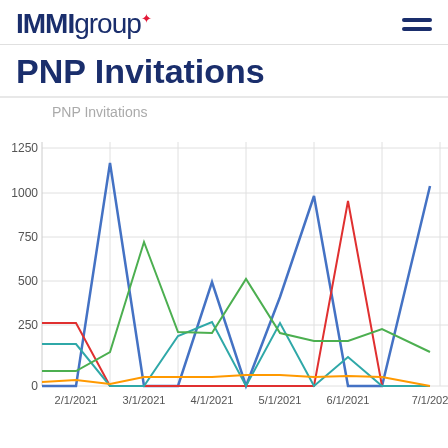IMMIgroup
PNP Invitations
[Figure (line-chart): PNP Invitations]